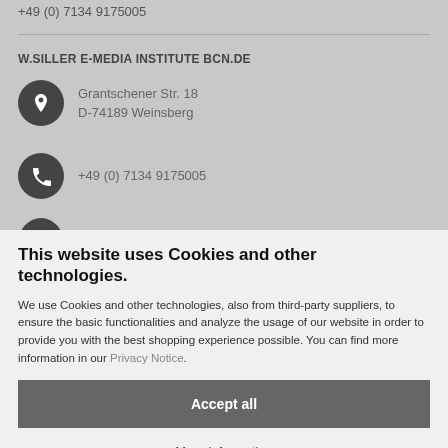+49 (0) 7134 9175005
W.SILLER E-MEDIA INSTITUTE BCN.DE
Grantschener Str. 18
D-74189 Weinsberg
+49 (0) 7134 9175005
This website uses Cookies and other technologies.
We use Cookies and other technologies, also from third-party suppliers, to ensure the basic functionalities and analyze the usage of our website in order to provide you with the best shopping experience possible. You can find more information in our Privacy Notice.
Accept all
More information